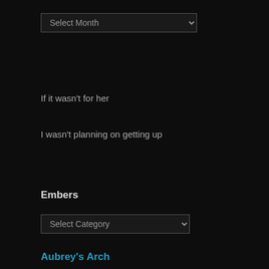[Figure (screenshot): A dropdown/select element labeled 'Select Month' with a dark background and light border]
If it wasn't for her
I wasn't planning on getting up
Embers
[Figure (screenshot): A dropdown/select element labeled 'Select Category' with a dark background and light border]
Aubrey's Arch
on Instagram